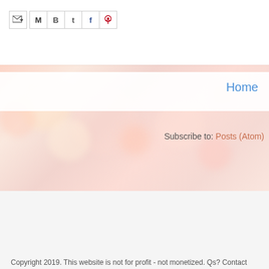[Figure (infographic): Social sharing icons bar with email forward icon and social media icons (M, B, T, F, Pinterest)]
[Figure (illustration): Bokeh blurred pink and peach background with soft light circles]
Home
Subscribe to: Posts (Atom)
[Figure (photo): Broken image placeholder, white rectangle with border]
Copyright 2019. This website is not for profit - not monetized. Qs? Contact